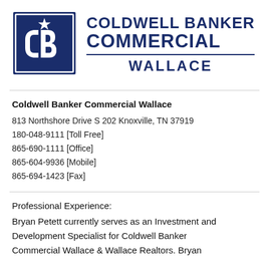[Figure (logo): Coldwell Banker Commercial Wallace logo — navy blue square with 'CB' monogram and star, next to bold navy text reading 'COLDWELL BANKER COMMERCIAL' with a horizontal rule and 'WALLACE' below]
Coldwell Banker Commercial Wallace
813 Northshore Drive S 202 Knoxville, TN 37919
180-048-9111 [Toll Free]
865-690-1111 [Office]
865-604-9936 [Mobile]
865-694-1423 [Fax]
Professional Experience:
Bryan Petett currently serves as an Investment and Development Specialist for Coldwell Banker Commercial Wallace & Wallace Realtors. Bryan